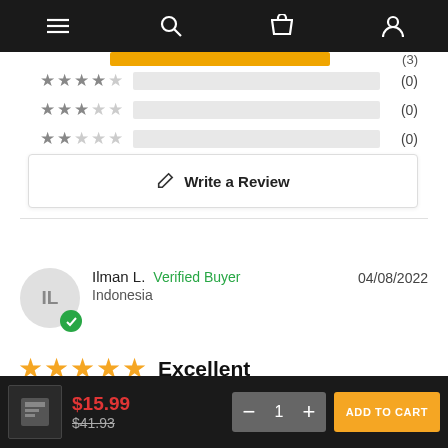[Figure (screenshot): Top navigation bar with menu, search, cart, and account icons on dark background]
[Figure (infographic): Star rating distribution rows: 4-star (0), 3-star (0), 2-star (0), 1-star (0) with empty progress bars]
✎ Write a Review
Ilman L.  Verified Buyer  Indonesia  04/08/2022
★★★★★ Excellent
$15.99  $41.93  1  ADD TO CART